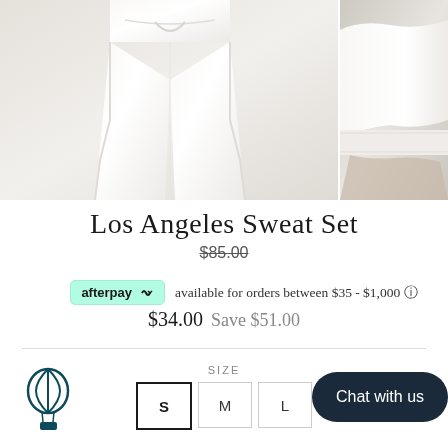[Figure (photo): Product photos of white sweat set — left shows white sweatpants with drawstring, right shows white sweatshirt sleeve/body detail]
Los Angeles Sweat Set
$85.00 (strikethrough original price)
afterpay available for orders between $35 - $1,000 ⓘ
$34.00  Save $51.00
SIZE  S  M  L
Chat with us